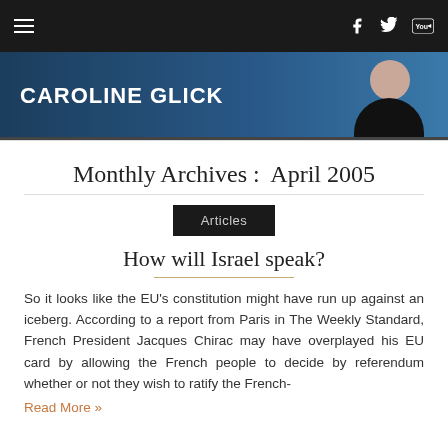Caroline Glick
Monthly Archives : April 2005
Articles
How will Israel speak?
So it looks like the EU's constitution might have run up against an iceberg. According to a report from Paris in The Weekly Standard, French President Jacques Chirac may have overplayed his EU card by allowing the French people to decide by referendum whether or not they wish to ratify the French-
Read More »